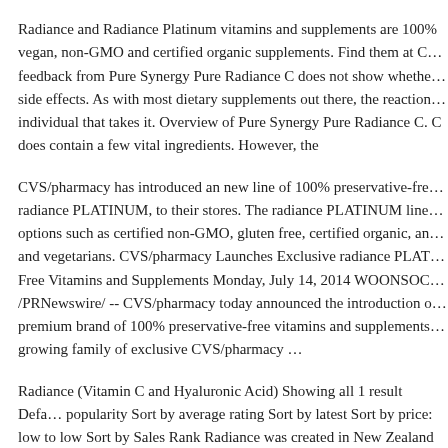Radiance and Radiance Platinum vitamins and supplements are 100% vegan, non-GMO and certified organic supplements. Find them at C… feedback from Pure Synergy Pure Radiance C does not show whethe… side effects. As with most dietary supplements out there, the reaction… individual that takes it. Overview of Pure Synergy Pure Radiance C. C does contain a few vital ingredients. However, the
CVS/pharmacy has introduced an new line of 100% preservative-fre… radiance PLATINUM, to their stores. The radiance PLATINUM line… options such as certified non-GMO, gluten free, certified organic, an… and vegetarians. CVS/pharmacy Launches Exclusive radiance PLAT… Free Vitamins and Supplements Monday, July 14, 2014 WOONSOC… /PRNewswire/ -- CVS/pharmacy today announced the introduction o… premium brand of 100% preservative-free vitamins and supplements… growing family of exclusive CVS/pharmacy …
Radiance (Vitamin C and Hyaluronic Acid) Showing all 1 result Defa… popularity Sort by average rating Sort by latest Sort by price: low to low Sort by Sales Rank Radiance was created in New Zealand in 199…